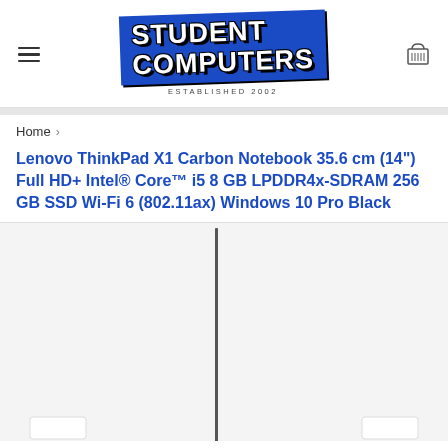[Figure (logo): Student Computers logo - blue tilted banner with bold white text 'STUDENT COMPUTERS' and 'ESTABLISHED 2002' below]
Home ›
Lenovo ThinkPad X1 Carbon Notebook 35.6 cm (14") Full HD+ Intel® Core™ i5 8 GB LPDDR4x-SDRAM 256 GB SSD Wi-Fi 6 (802.11ax) Windows 10 Pro Black
[Figure (photo): Product image of Lenovo ThinkPad X1 Carbon laptop, partially visible showing the open screen edge against white/grey background]